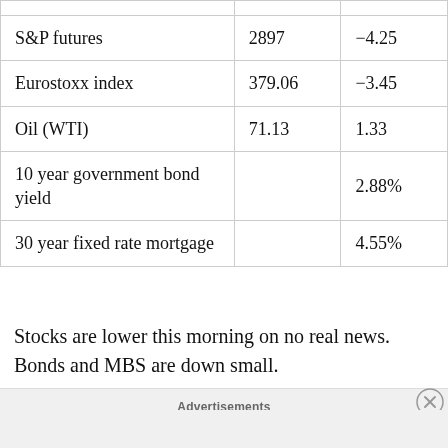|  |  |  |
| --- | --- | --- |
| S&P futures | 2897 | -4.25 |
| Eurostoxx index | 379.06 | -3.45 |
| Oil (WTI) | 71.13 | 1.33 |
| 10 year government bond yield |  | 2.88% |
| 30 year fixed rate mortgage |  | 4.55% |
Stocks are lower this morning on no real news. Bonds and MBS are down small.
Advertisements